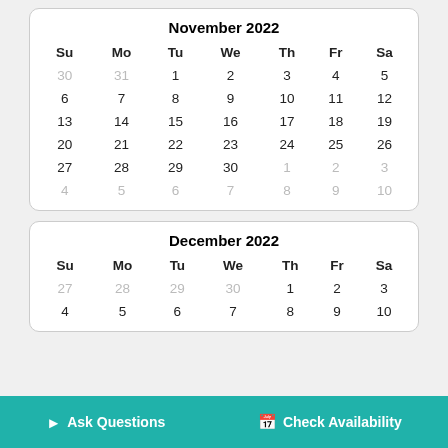| Su | Mo | Tu | We | Th | Fr | Sa |
| --- | --- | --- | --- | --- | --- | --- |
| 30 | 31 | 1 | 2 | 3 | 4 | 5 |
| 6 | 7 | 8 | 9 | 10 | 11 | 12 |
| 13 | 14 | 15 | 16 | 17 | 18 | 19 |
| 20 | 21 | 22 | 23 | 24 | 25 | 26 |
| 27 | 28 | 29 | 30 | 1 | 2 | 3 |
| 4 | 5 | 6 | 7 | 8 | 9 | 10 |
| Su | Mo | Tu | We | Th | Fr | Sa |
| --- | --- | --- | --- | --- | --- | --- |
| 27 | 28 | 29 | 30 | 1 | 2 | 3 |
| 4 | 5 | 6 | 7 | 8 | 9 | 10 |
Ask Questions   Check Availability